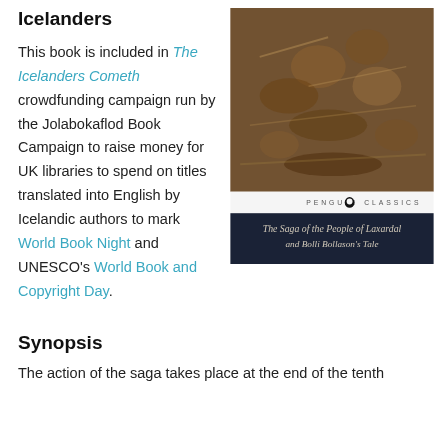Icelanders
This book is included in The Icelanders Cometh crowdfunding campaign run by the Jolabokaflod Book Campaign to raise money for UK libraries to spend on titles translated into English by Icelandic authors to mark World Book Night and UNESCO's World Book and Copyright Day.
[Figure (illustration): Penguin Classics book cover showing carved Norse figures on wood, with title 'The Saga of the People of Laxardal and Bolli Bollason's Tale' on a dark navy background]
Synopsis
The action of the saga takes place at the end of the tenth